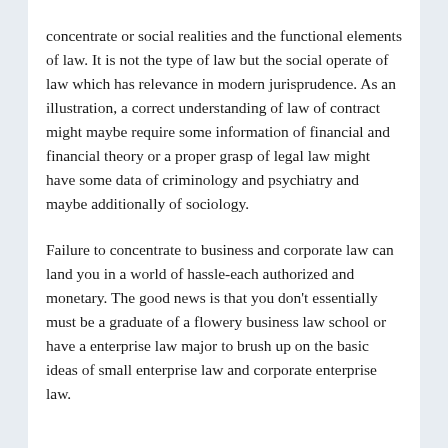concentrate or social realities and the functional elements of law. It is not the type of law but the social operate of law which has relevance in modern jurisprudence. As an illustration, a correct understanding of law of contract might maybe require some information of financial and financial theory or a proper grasp of legal law might have some data of criminology and psychiatry and maybe additionally of sociology.
Failure to concentrate to business and corporate law can land you in a world of hassle-each authorized and monetary. The good news is that you don't essentially must be a graduate of a flowery business law school or have a enterprise law major to brush up on the basic ideas of small enterprise law and corporate enterprise law.